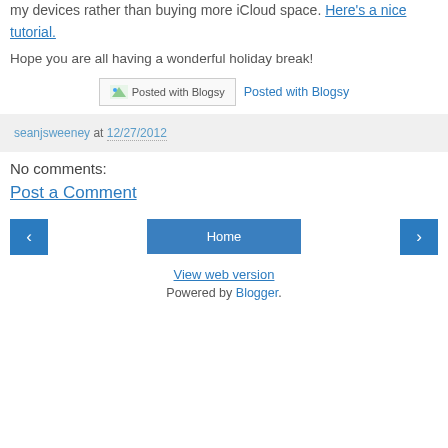my devices rather than buying more iCloud space. Here's a nice tutorial.
Hope you are all having a wonderful holiday break!
[Figure (other): Posted with Blogsy badge image and link]
seanjsweeney at 12/27/2012
No comments:
Post a Comment
Home | View web version | Powered by Blogger.